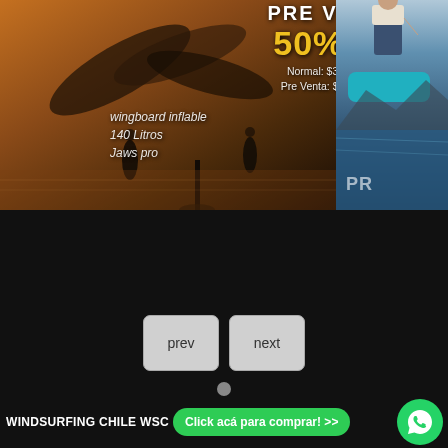[Figure (photo): Website screenshot showing a windsurfing/wingboard product page. Top section shows a composite image: left side shows windsurfers on water with warm amber tones, overlaid with pricing text showing PRE VENTA 50% OFF, Normal: $3.398.000, Pre Venta: $1.699.000, and text reading 'wingboard inflable 140 Litros Jaws pro'. Right side shows a person standing on a paddleboard in blue water. Below the image is a dark background section with prev/next navigation buttons and a pagination dot. Bottom bar shows 'WINDSURFING CHILE WSC' text, a green 'Click acá para comprar! >>' button, and a WhatsApp icon.]
PRE VENTA
50% OFF
Normal: $3.398.000
Pre Venta: $1.699.000
wingboard inflable
140 Litros
Jaws pro
prev
next
WINDSURFING CHILE WSC
Click acá para comprar! >>